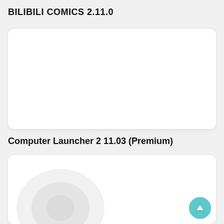BILIBILI COMICS 2.11.0
[Figure (screenshot): White card panel, blank/empty content area with rounded corners]
Computer Launcher 2 11.03 (Premium)
[Figure (screenshot): White card panel with faint circular logo/icon visible in the lower-left corner, and a teal FAB (floating action button) with an up arrow in the bottom-right corner]